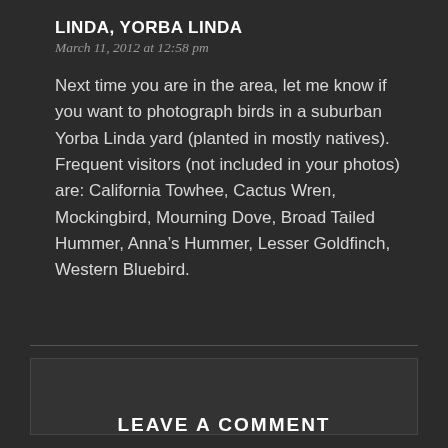LINDA, YORBA LINDA
March 11, 2012 at 12:58 pm
Next time you are in the area, let me know if you want to photograph birds in a suburban Yorba Linda yard (planted in mostly natives). Frequent visitors (not included in your photos) are: California Towhee, Cactus Wren, Mockingbird, Mourning Dove, Broad Tailed Hummer, Anna’s Hummer, Lesser Goldfinch, Western Bluebird.
LEAVE A COMMENT